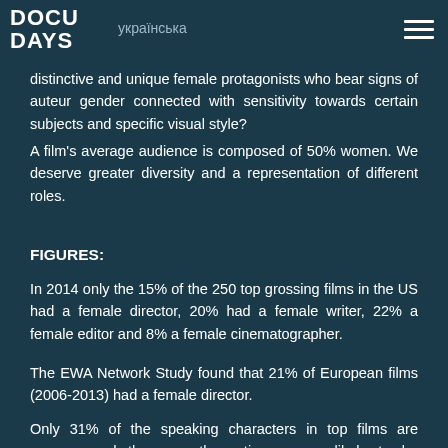DOCU DAYS | українська
distinctive and unique female protagonists who bear signs of auteur gender connected with sensitivity towards certain subjects and specific visual style?
A film's average audience is composed of 50% women. We deserve greater diversity and a representation of different roles.
FIGURES:
In 2014 only the 15% of the 250 top grossing films in the US had a female director, 20% had a female writer, 22% a female editor and 8% a female cinematographer.
The EWA Network Study found that 21% of European films (2006-2013) had a female director.
Only 31% of the speaking characters in top films are women, and they are three times more likely to be sexualized.